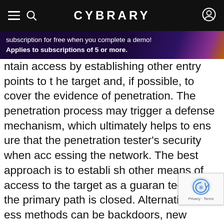CYBRARY
subscription for free when you complete a demo! Applies to subscriptions of 5 or more.
ntain access by establishing other entry points to the target and, if possible, to cover the evidence of penetration. The penetration process may trigger a defense mechanism, which ultimately helps to ensure that the penetration tester's security when accessing the network. The best approach is to establish other means of access to the target as a guarantee that the primary path is closed. Alternative access methods can be backdoors, new administrator accounts, encrypted channels, new network access channels, and so on. Another important aspect of establishing a foothold in the target system is the removal of evidence of penetration. This can make detection of attacks more difficult, and thus can reduce the security defense response. Clearing eviden